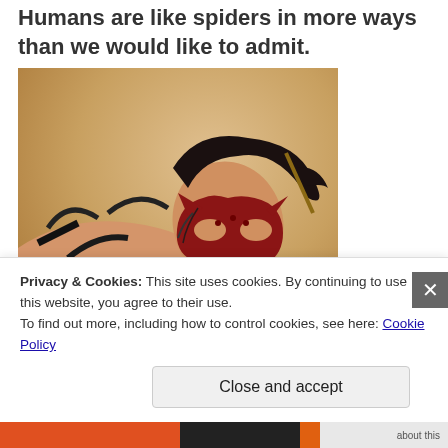Humans are like spiders in more ways than we would like to admit.
[Figure (photo): Person leaning forward wearing a dark red cat-style masquerade mask and dark lingerie, with dark hair pinned up, photographed against a sandy/tan background.]
Privacy & Cookies: This site uses cookies. By continuing to use this website, you agree to their use.
To find out more, including how to control cookies, see here: Cookie Policy
Close and accept